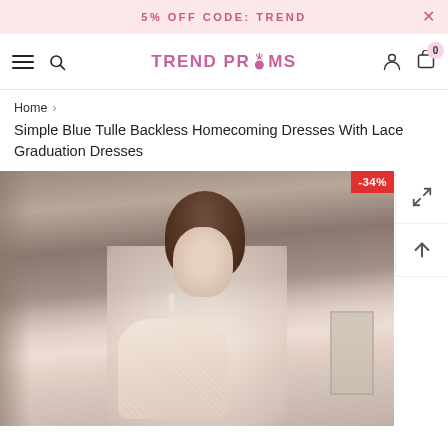5% OFF CODE: TREND
[Figure (logo): TREND PROMS logo in pink/magenta with crown icon]
Home > Simple Blue Tulle Backless Homecoming Dresses With Lace Graduation Dresses
Simple Blue Tulle Backless Homecoming Dresses With Lace Graduation Dresses
[Figure (photo): Model wearing a sheer lace champagne/nude dress with floral embroidery, photographed from mid-torso up, with a -34% discount badge in the top right corner]